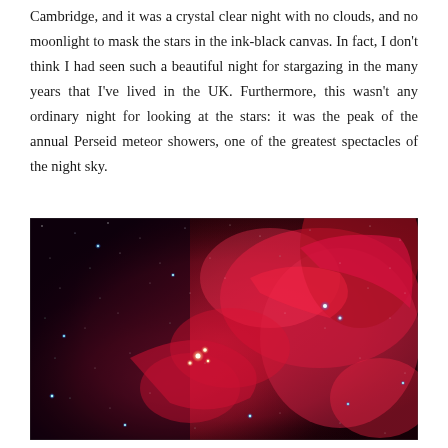Cambridge, and it was a crystal clear night with no clouds, and no moonlight to mask the stars in the ink-black canvas. In fact, I don't think I had seen such a beautiful night for stargazing in the many years that I've lived in the UK. Furthermore, this wasn't any ordinary night for looking at the stars: it was the peak of the annual Perseid meteor showers, one of the greatest spectacles of the night sky.
[Figure (photo): A deep space photograph showing a red nebula with glowing pink and crimson gas clouds against a dark star-filled sky, with several bright blue-white stars visible.]